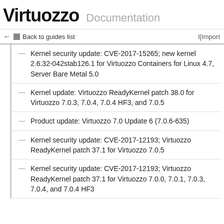Virtuozzo Documentation
← Back to guides list   Import
Kernel security update: CVE-2017-15265; new kernel 2.6.32-042stab126.1 for Virtuozzo Containers for Linux 4.7, Server Bare Metal 5.0
Kernel update: Virtuozzo ReadyKernel patch 38.0 for Virtuozzo 7.0.3, 7.0.4, 7.0.4 HF3, and 7.0.5
Product update: Virtuozzo 7.0 Update 6 (7.0.6-635)
Kernel security update: CVE-2017-12193; Virtuozzo ReadyKernel patch 37.1 for Virtuozzo 7.0.5
Kernel security update: CVE-2017-12193; Virtuozzo ReadyKernel patch 37.1 for Virtuozzo 7.0.0, 7.0.1, 7.0.3, 7.0.4, and 7.0.4 HF3